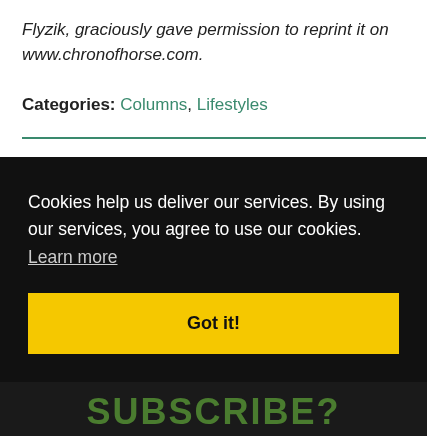Flyzik, graciously gave permission to reprint it on www.chronofhorse.com.
Categories: Columns, Lifestyles
Cookies help us deliver our services. By using our services, you agree to use our cookies. Learn more
Got it!
SUBSCRIBE?